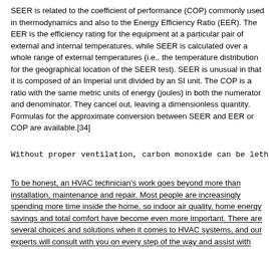SEER is related to the coefficient of performance (COP) commonly used in thermodynamics and also to the Energy Efficiency Ratio (EER). The EER is the efficiency rating for the equipment at a particular pair of external and internal temperatures, while SEER is calculated over a whole range of external temperatures (i.e., the temperature distribution for the geographical location of the SEER test). SEER is unusual in that it is composed of an Imperial unit divided by an SI unit. The COP is a ratio with the same metric units of energy (joules) in both the numerator and denominator. They cancel out, leaving a dimensionless quantity. Formulas for the approximate conversion between SEER and EER or COP are available.[34]
Without proper ventilation, carbon monoxide can be lethal
To be honest, an HVAC technician's work goes beyond more than installation, maintenance and repair. Most people are increasingly spending more time inside the home, so indoor air quality, home energy savings and total comfort have become even more important. There are several choices and solutions when it comes to HVAC systems, and our experts will consult with you on every step of the way and assist with